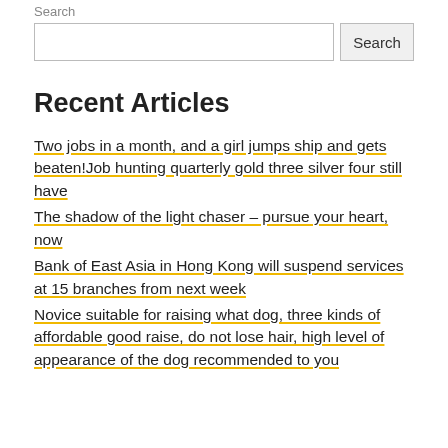Search
Search (input field and button)
Recent Articles
Two jobs in a month, and a girl jumps ship and gets beaten!Job hunting quarterly gold three silver four still have
The shadow of the light chaser – pursue your heart, now
Bank of East Asia in Hong Kong will suspend services at 15 branches from next week
Novice suitable for raising what dog, three kinds of affordable good raise, do not lose hair, high level of appearance of the dog recommended to you